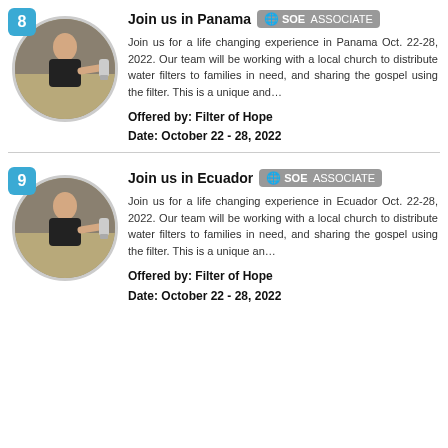[Figure (photo): Circular photo of a child holding a water filter, numbered badge 8 in blue]
Join us in Panama  SOE ASSOCIATE
Join us for a life changing experience in Panama Oct. 22-28, 2022. Our team will be working with a local church to distribute water filters to families in need, and sharing the gospel using the filter. This is a unique and…
Offered by: Filter of Hope
Date: October 22 - 28, 2022
[Figure (photo): Circular photo of a child holding a water filter, numbered badge 9 in blue]
Join us in Ecuador  SOE ASSOCIATE
Join us for a life changing experience in Ecuador Oct. 22-28, 2022. Our team will be working with a local church to distribute water filters to families in need, and sharing the gospel using the filter. This is a unique an…
Offered by: Filter of Hope
Date: October 22 - 28, 2022